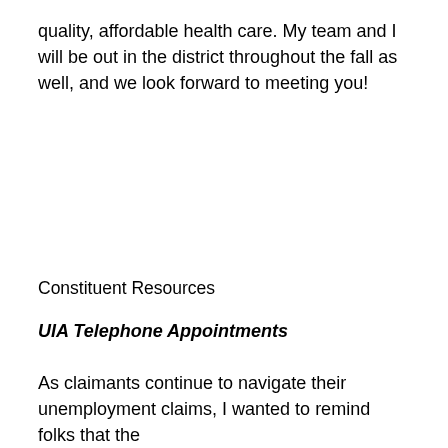quality, affordable health care. My team and I will be out in the district throughout the fall as well, and we look forward to meeting you!
Constituent Resources
UIA Telephone Appointments
As claimants continue to navigate their unemployment claims, I wanted to remind folks that the